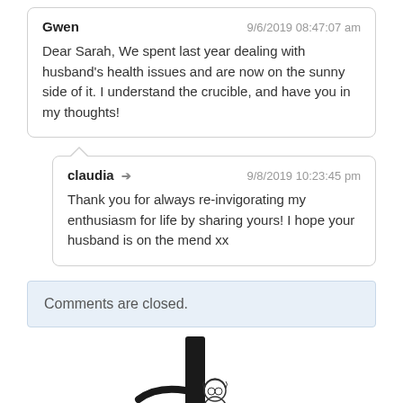Gwen
9/6/2019 08:47:07 am
Dear Sarah, We spent last year dealing with husband's health issues and are now on the sunny side of it. I understand the crucible, and have you in my thoughts!
claudia → 9/8/2019 10:23:45 pm
Thank you for always re-invigorating my enthusiasm for life by sharing yours! I hope your husband is on the mend xx
Comments are closed.
[Figure (illustration): Line drawing illustration of a person (woman with curly hair and glasses) sitting in or leaning against a dark tree, holding something, with a plant/flower nearby]